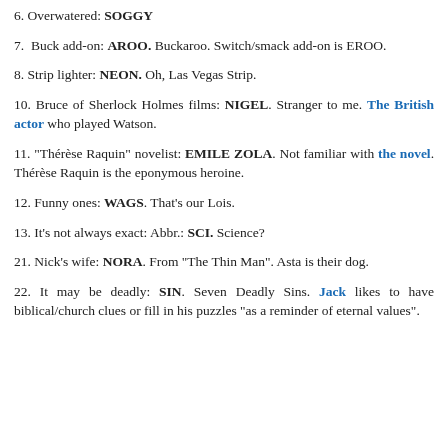6. Overwatered: SOGGY
7. Buck add-on: AROO. Buckaroo. Switch/smack add-on is EROO.
8. Strip lighter: NEON. Oh, Las Vegas Strip.
10. Bruce of Sherlock Holmes films: NIGEL. Stranger to me. The British actor who played Watson.
11. "Thérèse Raquin" novelist: EMILE ZOLA. Not familiar with the novel. Thérèse Raquin is the eponymous heroine.
12. Funny ones: WAGS. That's our Lois.
13. It's not always exact: Abbr.: SCI. Science?
21. Nick's wife: NORA. From "The Thin Man". Asta is their dog.
22. It may be deadly: SIN. Seven Deadly Sins. Jack likes to have biblical/church clues or fill in his puzzles "as a reminder of eternal values".